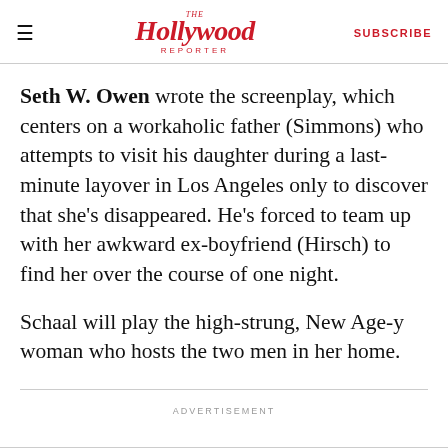The Hollywood Reporter | SUBSCRIBE
Seth W. Owen wrote the screenplay, which centers on a workaholic father (Simmons) who attempts to visit his daughter during a last-minute layover in Los Angeles only to discover that she’s disappeared. He’s forced to team up with her awkward ex-boyfriend (Hirsch) to find her over the course of one night.
Schaal will play the high-strung, New Age-y woman who hosts the two men in her home.
ADVERTISEMENT